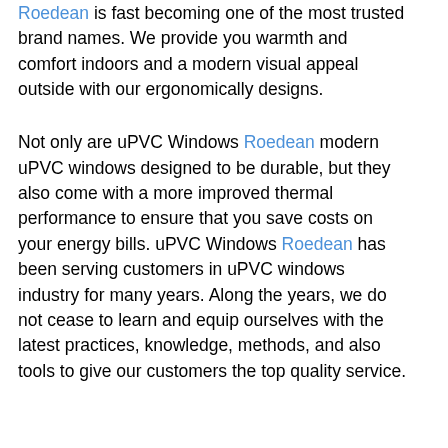known for quality standards and professional services in for uPVC windows, uPVC Windows Roedean is fast becoming one of the most trusted brand names. We provide you warmth and comfort indoors and a modern visual appeal outside with our ergonomically designs.
Not only are uPVC Windows Roedean modern uPVC windows designed to be durable, but they also come with a more improved thermal performance to ensure that you save costs on your energy bills. uPVC Windows Roedean has been serving customers in uPVC windows industry for many years. Along the years, we do not cease to learn and equip ourselves with the latest practices, knowledge, methods, and also tools to give our customers the top quality service.